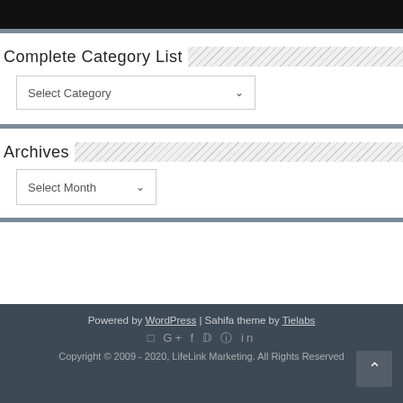[Figure (photo): Cropped top portion of an image, mostly dark/black]
Complete Category List
Select Category
Archives
Select Month
Powered by WordPress | Sahifa theme by Tielabs
Copyright © 2009 - 2020, LifeLink Marketing. All Rights Reserved